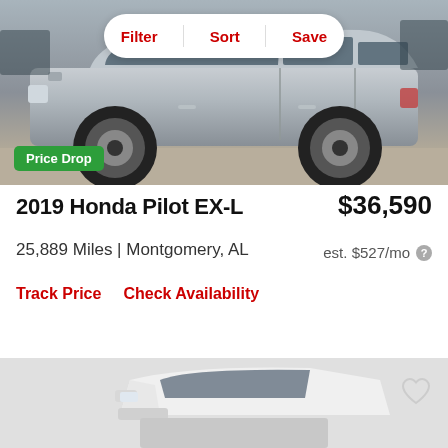[Figure (photo): Side view of a silver 2019 Honda Pilot SUV in a parking lot, with Filter/Sort/Save pill button overlay and a green Price Drop badge in bottom left]
2019 Honda Pilot EX-L
$36,590
25,889 Miles | Montgomery, AL
est. $527/mo
Track Price
Check Availability
[Figure (photo): Partial front view of a white Honda Pilot SUV, partially obscured by a grey rectangle at bottom]